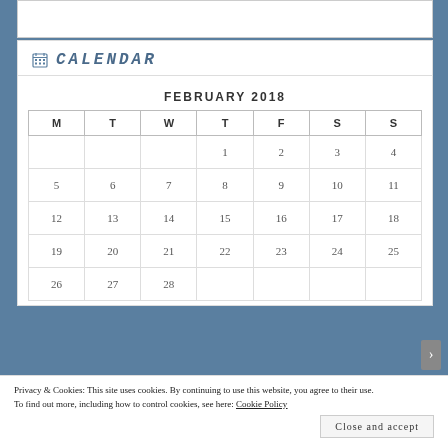CALENDAR
| M | T | W | T | F | S | S |
| --- | --- | --- | --- | --- | --- | --- |
|  |  |  | 1 | 2 | 3 | 4 |
| 5 | 6 | 7 | 8 | 9 | 10 | 11 |
| 12 | 13 | 14 | 15 | 16 | 17 | 18 |
| 19 | 20 | 21 | 22 | 23 | 24 | 25 |
| 26 | 27 | 28 |  |  |  |  |
Privacy & Cookies: This site uses cookies. By continuing to use this website, you agree to their use.
To find out more, including how to control cookies, see here: Cookie Policy
Close and accept